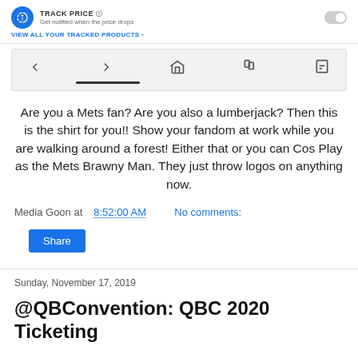[Figure (screenshot): Track Price toggle UI with icon, text 'TRACK PRICE', subtitle 'Get notified when the price drops', toggle switch, and link 'VIEW ALL YOUR TRACKED PRODUCTS >']
[Figure (screenshot): Mobile browser navigation bar with back, forward, home, bookmarks, and share icons, with a dark underline below the home icon]
Are you a Mets fan? Are you also a lumberjack? Then this is the shirt for you!! Show your fandom at work while you are walking around a forest! Either that or you can Cos Play as the Mets Brawny Man. They just throw logos on anything now.
Media Goon at 8:52:00 AM   No comments:
Share
Sunday, November 17, 2019
@QBConvention: QBC 2020 Ticketing